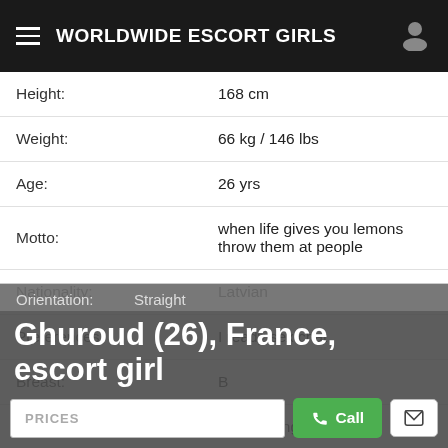WORLDWIDE ESCORT GIRLS
| Height: | 168 cm |
| Weight: | 66 kg / 146 lbs |
| Age: | 26 yrs |
| Motto: | when life gives you lemons throw them at people |
| Nationality: | Latvian |
| Preferences: | I ready sex chat |
| Breast: | B |
| Lingerie: | Lauma Lingerie |
| Perfumes: | A Wing & A Prayer Perfumes |
| Orientation: | Straight |
Ghuroud (26), France, escort girl
PRICES
Call
Mail